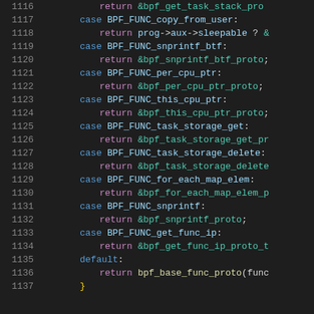[Figure (screenshot): Source code listing of a C switch statement handling BPF function cases, lines 1116-1137, dark theme editor with line numbers, blue keywords, teal/green identifiers, purple return keyword.]